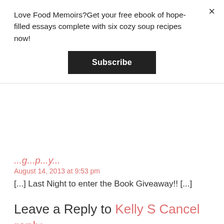Love Food Memoirs?Get your free ebook of hope-filled essays complete with six cozy soup recipes now!
Subscribe
[...] Last Night to enter the Book Giveaway!! [...]
August 14, 2013 at 9:53 pm
Leave a Reply to Kelly S Cancel reply
Your email address will not be published. Required fields are marked *
COMMENT *